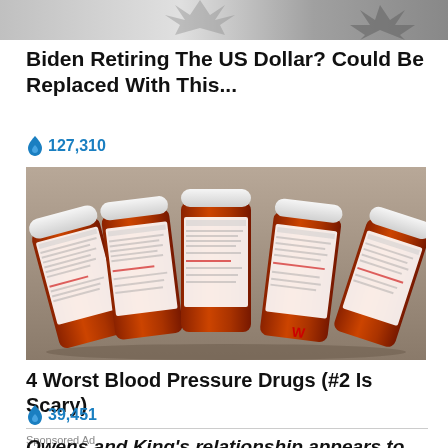[Figure (photo): Partial image at top of page, appears to be a graphic with starburst/explosion design in grayscale]
Biden Retiring The US Dollar? Could Be Replaced With This...
🔥 127,310
[Figure (photo): Five amber/brown prescription pill bottles arranged in a fan pattern on a gray surface, labels visible but text small]
4 Worst Blood Pressure Drugs (#2 Is Scary)
🔥 39,451
Sponsored Ad
Owens and King's relationship appears to...